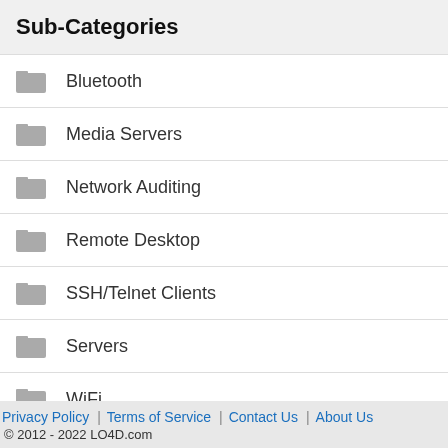Sub-Categories
Bluetooth
Media Servers
Network Auditing
Remote Desktop
SSH/Telnet Clients
Servers
WiFi
Privacy Policy | Terms of Service | Contact Us | About Us
© 2012 - 2022 LO4D.com